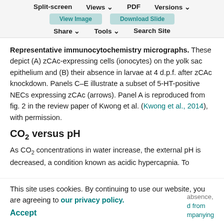Split-screen  Views  PDF  Versions  Share  Tools  Search Site
Representative immunocytochemistry micrographs. These depict (A) zCAc-expressing cells (ionocytes) on the yolk sac epithelium and (B) their absence in larvae at 4 d.p.f. after zCAc knockdown. Panels C–E illustrate a subset of 5-HT-positive NECs expressing zCAc (arrows). Panel A is reproduced from fig. 2 in the review paper of Kwong et al. (Kwong et al., 2014), with permission.
CO2 versus pH
As CO2 concentrations in water increase, the external pH is decreased, a condition known as acidic hypercapnia. To
This site uses cookies. By continuing to use our website, you are agreeing to our privacy policy.
Accept